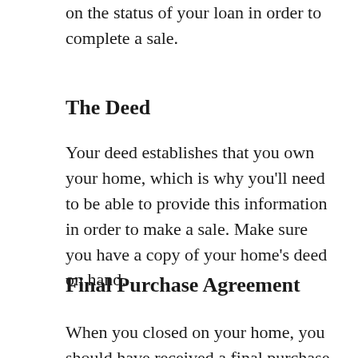on the status of your loan in order to complete a sale.
The Deed
Your deed establishes that you own your home, which is why you'll need to be able to provide this information in order to make a sale. Make sure you have a copy of your home's deed on hand.
Final Purchase Agreement
When you closed on your home, you should have received a final purchase agreement. This